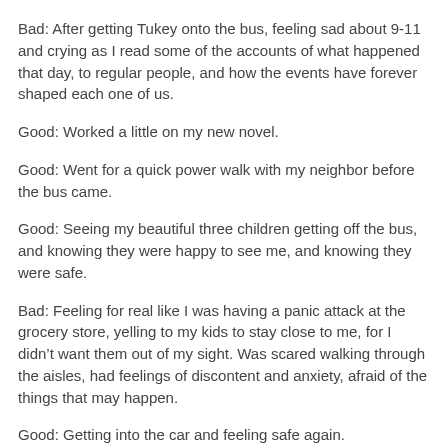Bad: After getting Tukey onto the bus, feeling sad about 9-11 and crying as I read some of the accounts of what happened that day, to regular people, and how the events have forever shaped each one of us.
Good: Worked a little on my new novel.
Good: Went for a quick power walk with my neighbor before the bus came.
Good: Seeing my beautiful three children getting off the bus, and knowing they were happy to see me, and knowing they were safe.
Bad: Feeling for real like I was having a panic attack at the grocery store, yelling to my kids to stay close to me, for I didn’t want them out of my sight. Was scared walking through the aisles, had feelings of discontent and anxiety, afraid of the things that may happen.
Good: Getting into the car and feeling safe again.